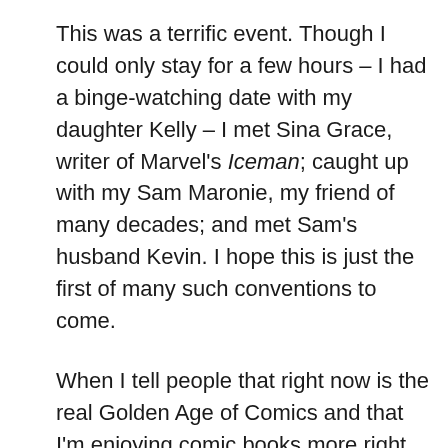This was a terrific event. Though I could only stay for a few hours – I had a binge-watching date with my daughter Kelly – I met Sina Grace, writer of Marvel's Iceman; caught up with my Sam Maronie, my friend of many decades; and met Sam's husband Kevin. I hope this is just the first of many such conventions to come.
When I tell people that right now is the real Golden Age of Comics and that I'm enjoying comic books more right now than I ever have in a lifetime of enjoying comic books, one of the reasons I cite is the new characters and voices coming into our art form. Despite the relatively few “on the wrong side of history” naysayers, readers are embracing the diversity represented by creators who bring their own